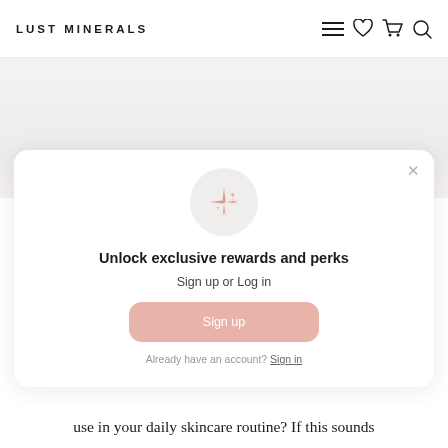LUST MINERALS
[Figure (screenshot): Loyalty/rewards modal popup with sparkle icon, title 'Unlock exclusive rewards and perks', sign up or log in subtitle, Sign up button, and sign in link]
Unlock exclusive rewards and perks
Sign up or Log in
Sign up
Already have an account? Sign in
use in your daily skincare routine? If this sounds